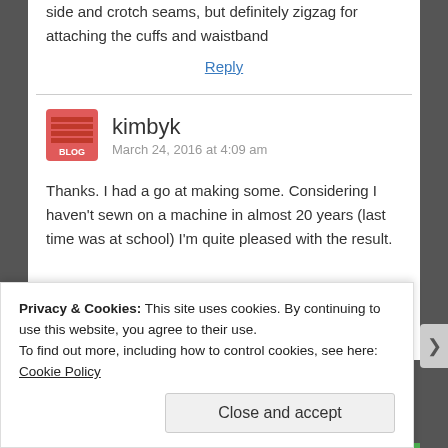side and crotch seams, but definitely zigzag for attaching the cuffs and waistband
Reply
kimbyk
March 24, 2016 at 4:09 am
Thanks. I had a go at making some. Considering I haven't sewn on a machine in almost 20 years (last time was at school) I'm quite pleased with the result.
Privacy & Cookies: This site uses cookies. By continuing to use this website, you agree to their use.
To find out more, including how to control cookies, see here: Cookie Policy
Close and accept